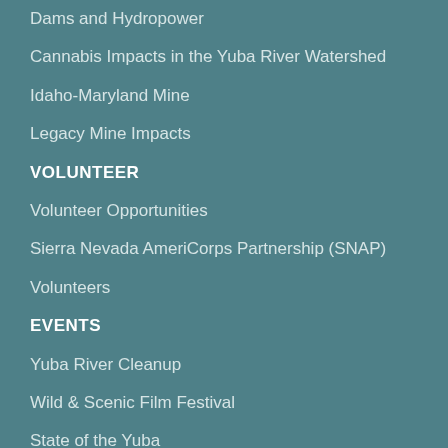Dams and Hydropower
Cannabis Impacts in the Yuba River Watershed
Idaho-Maryland Mine
Legacy Mine Impacts
VOLUNTEER
Volunteer Opportunities
Sierra Nevada AmeriCorps Partnership (SNAP)
Volunteers
EVENTS
Yuba River Cleanup
Wild & Scenic Film Festival
State of the Yuba
DONATE
Membership & Donations
Emerald Circle